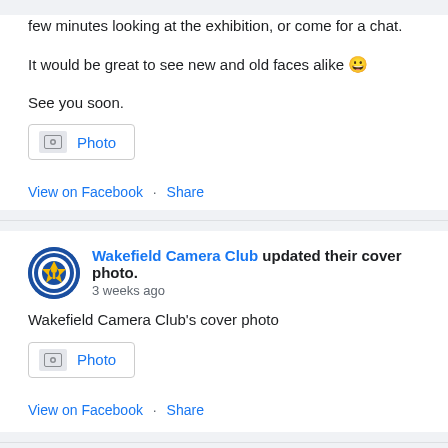few minutes looking at the exhibition, or come for a chat.
It would be great to see new and old faces alike 😀
See you soon.
[Figure (other): Photo attachment button/link]
View on Facebook · Share
Wakefield Camera Club updated their cover photo.
3 weeks ago
Wakefield Camera Club's cover photo
[Figure (other): Photo attachment button/link]
View on Facebook · Share
Wakefield Camera Club
4 weeks ago
WAKEFIELD CAMERA CLUB'S 2022 EXHIBITION